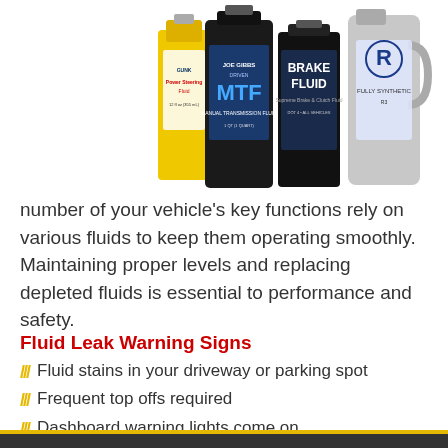[Figure (photo): Various automotive fluid bottles including Power Steering Fluid, Joe Gibbs Driven MTF, Brake Fluid, and an R3 oil container]
number of your vehicle's key functions rely on various fluids to keep them operating smoothly. Maintaining proper levels and replacing depleted fluids is essential to performance and safety.
Fluid Leak Warning Signs
Fluid stains in your driveway or parking spot
Frequent top offs required
Dashboard warning lights come on